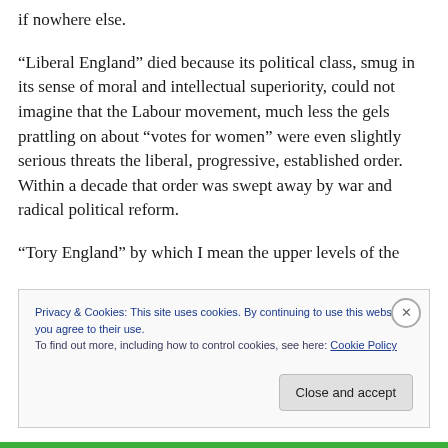if nowhere else.
“Liberal England” died because its political class, smug in its sense of moral and intellectual superiority, could not imagine that the Labour movement, much less the gels prattling on about “votes for women” were even slightly serious threats the liberal, progressive, established order. Within a decade that order was swept away by war and radical political reform.
“Tory England” by which I mean the upper levels of the
Privacy & Cookies: This site uses cookies. By continuing to use this website, you agree to their use.
To find out more, including how to control cookies, see here: Cookie Policy
Close and accept